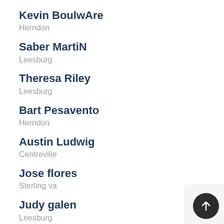Kevin BoulwAre
Herndon
Saber MartiN
Leesburg
Theresa Riley
Leesburg
Bart Pesavento
Herndon
Austin Ludwig
Centreville
Jose flores
Sterling va
Judy galen
Leesburg
Dana Connor
Aldie
David